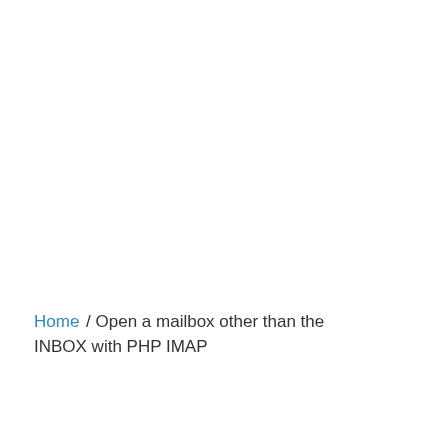Home / Open a mailbox other than the INBOX with PHP IMAP